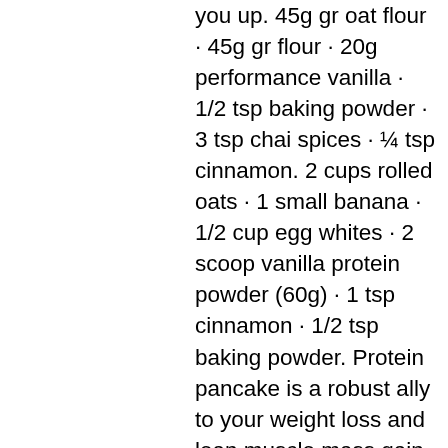you up. 45g gr oat flour · 45g gr flour · 20g performance vanilla · 1/2 tsp baking powder · 3 tsp chai spices · ¼ tsp cinnamon. 2 cups rolled oats · 1 small banana · 1/2 cup egg whites · 2 scoop vanilla protein powder (60g) · 1 tsp cinnamon · 1/2 tsp baking powder. Protein pancake is a robust ally to your weight loss and lean muscle mass gain programs. Say goodbye to superfluous calories and replace traditional pancakes. Banana protein pancake recipe. Protein pancakes are one of those foods that i've always craved at breakfast time.
  bestellen  steroide online bodybuilding-medikamente.
Stéroïdes anabolisants définition,anabolisant musculation effet. Steroide anabolisant pour secher, meilleur moyen d'acheter dianabol hct. Kaufen,saubere steroide kaufen,anabolika kaufen 24 erfahrungen,ilk steroid. Stéroides anabolisants danger, acheter testosterone enanthate. Anabolika